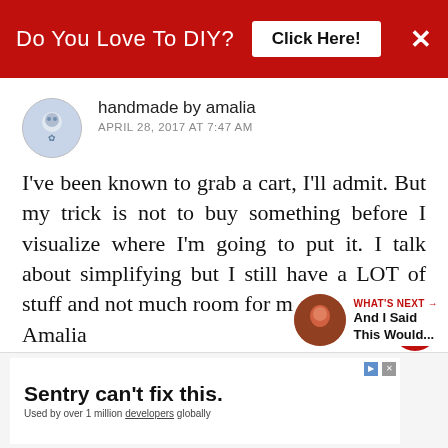[Figure (screenshot): Red banner advertisement: 'Do You Love To DIY? Click Here!' with white X close button]
[Figure (illustration): Circular avatar image for user 'handmade by amalia' showing a decorative illustration]
handmade by amalia
APRIL 28, 2017 AT 7:47 AM
I've been known to grab a cart, I'll admit. But my trick is not to buy something before I visualize where I'm going to put it. I talk about simplifying but I still have a LOT of stuff and not much room for more things.
Amalia
xo
[Figure (screenshot): Bottom advertisement for Sentry: 'Sentry can't fix this. Used by over 1 million developers globally']